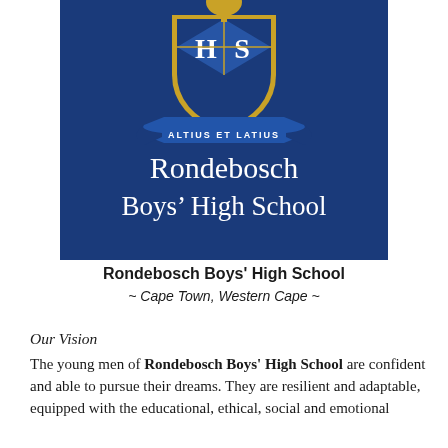[Figure (logo): Rondebosch Boys' High School crest/logo on dark navy blue background. Shield with H and S letters and a tree on top, motto banner reading 'ALTIUS ET LATIUS', and school name 'Rondebosch Boys' High School' in white serif text below.]
Rondebosch Boys' High School
~ Cape Town, Western Cape ~
Our Vision
The young men of Rondebosch Boys' High School are confident and able to pursue their dreams. They are resilient and adaptable, equipped with the educational, ethical, social and emotional